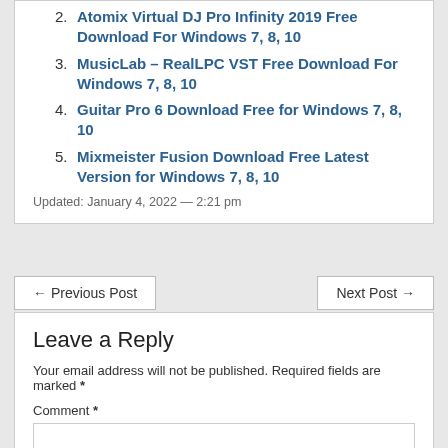2. Atomix Virtual DJ Pro Infinity 2019 Free Download For Windows 7, 8, 10
3. MusicLab – RealLPC VST Free Download For Windows 7, 8, 10
4. Guitar Pro 6 Download Free for Windows 7, 8, 10
5. Mixmeister Fusion Download Free Latest Version for Windows 7, 8, 10
Updated: January 4, 2022 — 2:21 pm
← Previous Post
Next Post →
Leave a Reply
Your email address will not be published. Required fields are marked *
Comment *